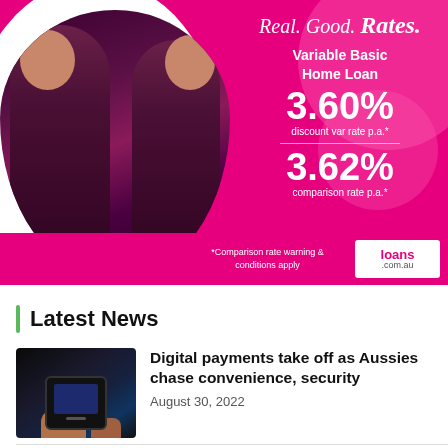[Figure (infographic): Advertisement for loans.com.au featuring two rugby league players in maroon uniforms. Pink/magenta background with text: 'Real. Good. Rates.' tagline, Variable Basic Home Loan at 3.60% discount var rate p.a.* and 3.62% comparison rate p.a.*. Comparison rate warning & conditions apply. loans.com.au logo badge.]
Latest News
[Figure (photo): Thumbnail photo of a hand holding a smartphone, used for a digital payments news article.]
Digital payments take off as Aussies chase convenience, security
August 30, 2022